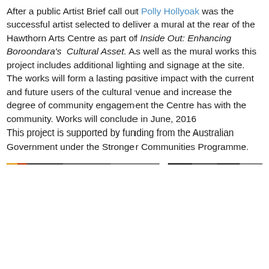After a public Artist Brief call out Polly Hollyoak was the successful artist selected to deliver a mural at the rear of the Hawthorn Arts Centre as part of Inside Out: Enhancing Boroondara's Cultural Asset. As well as the mural works this project includes additional lighting and signage at the site. The works will form a lasting positive impact with the current and future users of the cultural venue and increase the degree of community engagement the Centre has with the community. Works will conclude in June, 2016
This project is supported by funding from the Australian Government under the Stronger Communities Programme.